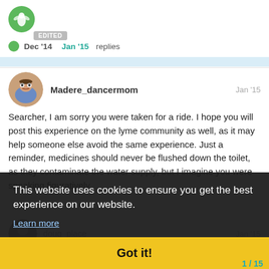[Figure (logo): Green circular logo with a white insect/bee icon]
Dec '14   Jan '15   replies
Madere_dancermom   Jan '15
Searcher, I am sorry you were taken for a ride. I hope you will post this experience on the lyme community as well, as it may help someone else avoid the same experience. Just a reminder, medicines should never be flushed down the toilet, as they contaminate the water supply, but I imagine you were speaking figuratively.
This website uses cookies to ensure you get the best experience on our website.
Learn more
Got it!
doug_place   Jan '15
Yes, you should be careful of Lyme diagn
1/15